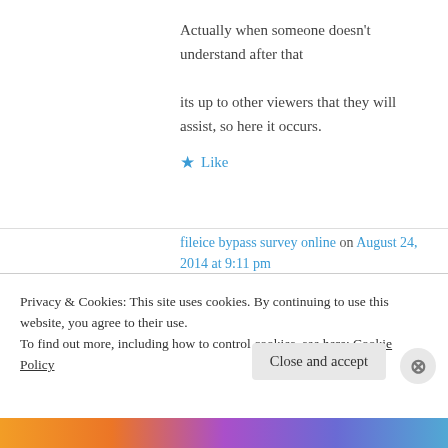Actually when someone doesn't understand after that its up to other viewers that they will assist, so here it occurs.
★ Like
fileice bypass survey online on August 24, 2014 at 9:11 pm
It's awesome to visit this web page and reading
Privacy & Cookies: This site uses cookies. By continuing to use this website, you agree to their use. To find out more, including how to control cookies, see here: Cookie Policy
Close and accept